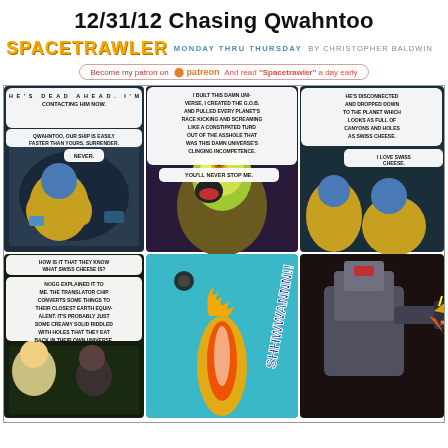12/31/12 Chasing Qwahntoo
[Figure (illustration): Spacetrawler webcomic header with logo, subtitle 'Monday Thru Thursday by Christopher Baldwin', and Patreon banner]
[Figure (illustration): Comic strip page with 6 panels. Panel 1: Characters in spaceship cockpit with speech bubbles: 'He's dead ahead. I'm contacting him now.' 'Qwahntoo, our ship is easily faster than yours. Surrender.' 'Never.' Panel 2: Alien villain monologuing: 'I built this damn universe, I created the G.O.B. and pulled every planet's race kicking and screaming like a constipated turd out of the asshole that was this damn universe's clinging incompetence.' 'You'll never stop me.' Panel 3: Characters react: 'He's disconnected and dropped down to the planet which looks as full of canyons and holes as Swiss cheese.' 'I love Swiss cheese.' Panel 4: Characters: 'How is it that they know what Swiss cheese is?' 'Nogg explained it to me. The translator chip converts some things to their closest Earth equivalent. It's probably just some creamy solid riddled with holes that they eat back in their own universe.' Panel 5: Action panel with 'SHHWWANNN!!' sound effect and fire/explosion. Panel 6: Robot/mech action scene.]